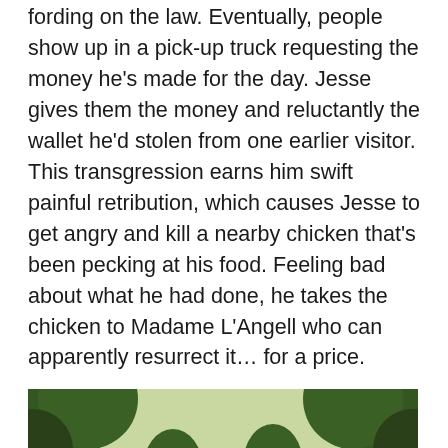fording on the law. Eventually, people show up in a pick-up truck requesting the money he's made for the day. Jesse gives them the money and reluctantly the wallet he'd stolen from one earlier visitor. This transgression earns him swift painful retribution, which causes Jesse to get angry and kill a nearby chicken that's been pecking at his food. Feeling bad about what he had done, he takes the chicken to Madame L'Angell who can apparently resurrect it… for a price.
[Figure (photo): A young man in a white suit with a dark tie stands on a tree-lined dirt path, looking downward. He appears to be standing near an ornate gate or ironwork. Large oak trees with Spanish moss line the path in the background.]